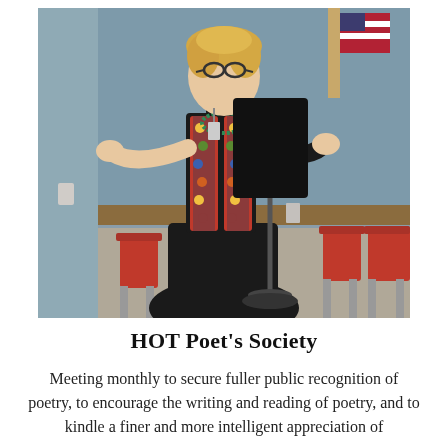[Figure (photo): A woman with curly blonde hair and glasses stands at a black lectern/music stand, gesturing with both hands as she speaks or reads. She wears a black turtleneck and skirt with a colorful patterned vest and a green beaded necklace. The setting appears to be a meeting room with gray walls, an American flag in the background, and red chairs visible to the sides.]
HOT Poet's Society
Meeting monthly to secure fuller public recognition of poetry, to encourage the writing and reading of poetry, and to kindle a finer and more intelligent appreciation of